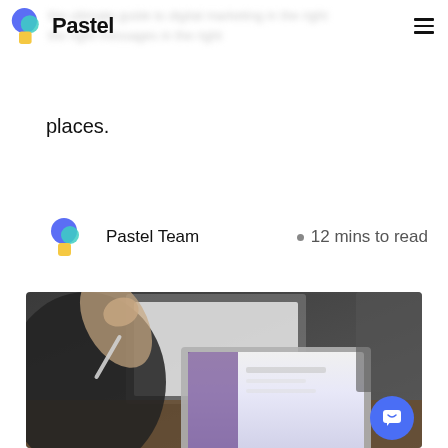Pastel
places.
Pastel Team  •  12 mins to read
[Figure (photo): Person working at a desk with a laptop and phone, blurred background image]